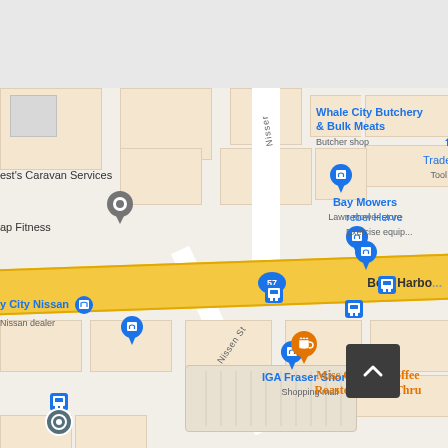[Figure (map): Google Maps screenshot showing a street map of Hervey Bay area, Queensland Australia. Features Nissen Street running diagonally, Boat Harbour Drive as the main yellow highway (route 57) running horizontally. Visible businesses include TradeTools (Tool store), Whale City Butchery & Bulk Meats (Butcher shop), Bay Mowers (Lawn mower store), rebel Hervey (Exercise equipment), Bay City Nissan (Nissan dealer), IGA Fraser Shores (Shopping mall), Miss Cocoa's Coffee Roastery Drive Thru. Various blue shopping pins, bus stop icons, and a gray location pin are shown. A dark scroll-up button appears in the bottom right.]